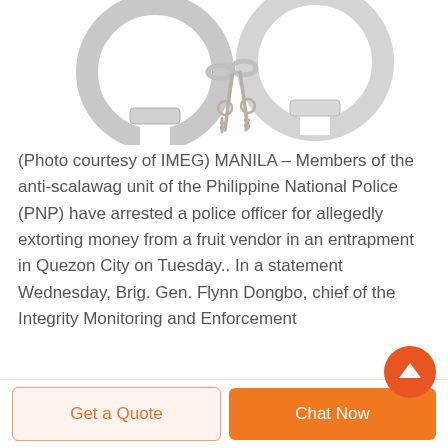[Figure (photo): Photograph of silver handcuffs with two small keys attached, on a white background. Photo courtesy of IMEG.]
(Photo courtesy of IMEG) MANILA – Members of the anti-scalawag unit of the Philippine National Police (PNP) have arrested a police officer for allegedly extorting money from a fruit vendor in an entrapment in Quezon City on Tuesday.. In a statement Wednesday, Brig. Gen. Flynn Dongbo, chief of the Integrity Monitoring and Enforcement